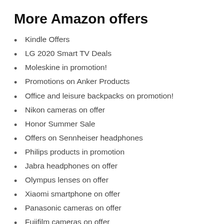More Amazon offers
Kindle Offers
LG 2020 Smart TV Deals
Moleskine in promotion!
Promotions on Anker Products
Office and leisure backpacks on promotion!
Nikon cameras on offer
Honor Summer Sale
Offers on Sennheiser headphones
Philips products in promotion
Jabra headphones on offer
Olympus lenses on offer
Xiaomi smartphone on offer
Panasonic cameras on offer
Fujifilm cameras on offer
Canon cameras and lenses on offer
Garmin offers
Polaroid Camera Week
Up to 30% discount on Fitbit products